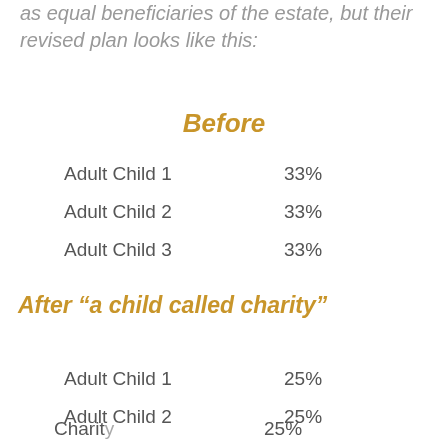as equal beneficiaries of the estate, but their revised plan looks like this:
Before
|  |  |
| --- | --- |
| Adult Child 1 | 33% |
| Adult Child 2 | 33% |
| Adult Child 3 | 33% |
After “a child called charity”
|  |  |
| --- | --- |
| Adult Child 1 | 25% |
| Adult Child 2 | 25% |
| Adult Child 3 | 25% |
| Charit[y] | 25% |